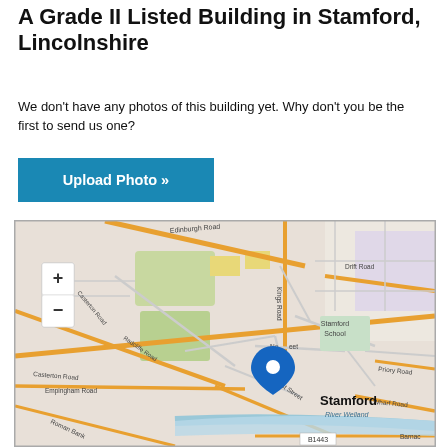A Grade II Listed Building in Stamford, Lincolnshire
We don't have any photos of this building yet. Why don't you be the first to send us one?
Upload Photo »
[Figure (map): OpenStreetMap-style map centred on Stamford, Lincolnshire, showing streets including Edinburgh Road, Drift Road, Kings Road, Casterton Road, Radcliffe Road, Empingham Road, Roman Bank, West Street, Priory Road, Wharf Road, River Welland, B1443, with a blue location pin marker and zoom +/- controls, and label 'Stamford', 'Stamford School', 'Barnac...']